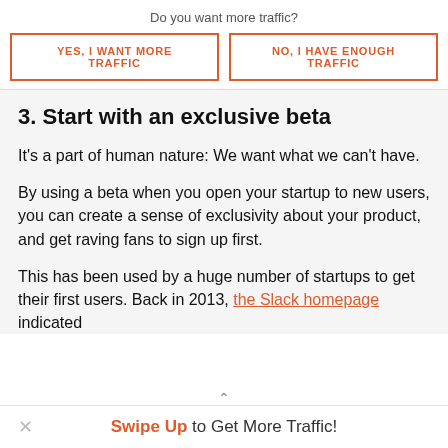Do you want more traffic?
YES, I WANT MORE TRAFFIC
NO, I HAVE ENOUGH TRAFFIC
3. Start with an exclusive beta
It's a part of human nature: We want what we can't have.
By using a beta when you open your startup to new users, you can create a sense of exclusivity about your product, and get raving fans to sign up first.
This has been used by a huge number of startups to get their first users. Back in 2013, the Slack homepage indicated
Swipe Up to Get More Traffic!